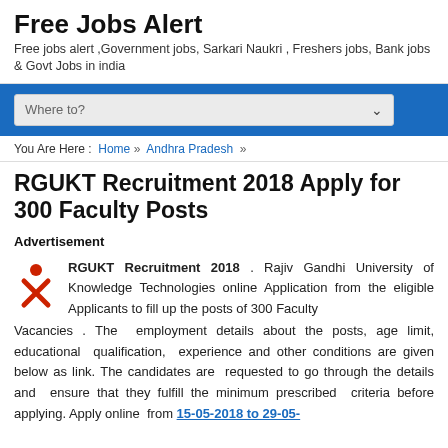Free Jobs Alert
Free jobs alert ,Government jobs, Sarkari Naukri , Freshers jobs, Bank jobs & Govt Jobs in india
[Figure (screenshot): Navigation bar with 'Where to?' dropdown search box on blue background]
You Are Here : Home » Andhra Pradesh »
RGUKT Recruitment 2018 Apply for 300 Faculty Posts
Advertisement
RGUKT Recruitment 2018 . Rajiv Gandhi University of Knowledge Technologies online Application from the eligible Applicants to fill up the posts of 300 Faculty Vacancies . The employment details about the posts, age limit, educational qualification, experience and other conditions are given below as link. The candidates are requested to go through the details and ensure that they fulfill the minimum prescribed criteria before applying. Apply online from 15-05-2018 to 29-05-